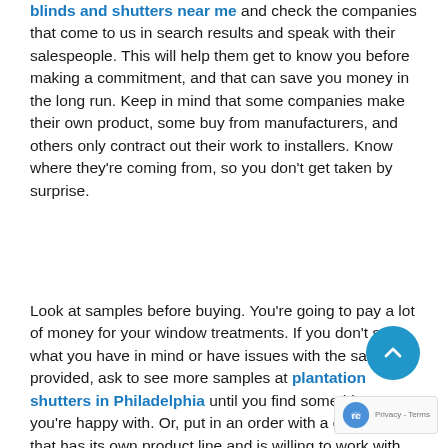blinds and shutters near me and check the companies that come to us in search results and speak with their salespeople. This will help them get to know you before making a commitment, and that can save you money in the long run. Keep in mind that some companies make their own product, some buy from manufacturers, and others only contract out their work to installers. Know where they're coming from, so you don't get taken by surprise.
Look at samples before buying. You're going to pay a lot of money for your window treatments. If you don't see what you have in mind or have issues with the samples provided, ask to see more samples at plantation shutters in Philadelphia until you find something you're happy with. Or, put in an order with a company that has its own product line and is willing to work with an installer of your choice if it